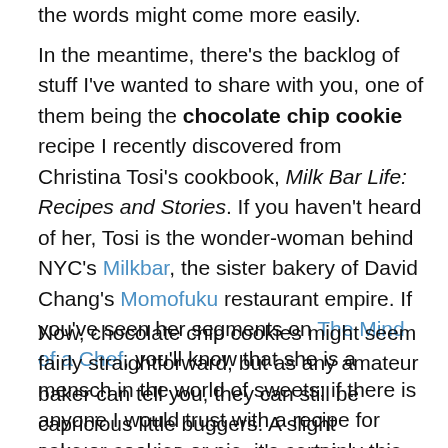the words might come more easily.
In the meantime, there's the backlog of stuff I've wanted to share with you, one of them being the chocolate chip cookie recipe I recently discovered from Christina Tosi's cookbook, Milk Bar Life: Recipes and Stories. If you haven't heard of her, Tosi is the wonder-woman behind NYC's Milkbar, the sister bakery of David Chang's Momofuku restaurant empire. If you've seen her segments on The Mind of a Chef, you'll know that she is a mensch in the world of sweets; if there is anyone I would trust with a recipe for cake or cookies or pie, it's certainly this lady.
Now, chocolate chip cookies might seem fairly straightforward, but as any amateur baker can tell you, they can still be capricious little buggers. A slight imbalance in gluten, sugar and fat can turn them into a liquefied mess or make them as hard as stone (or lord